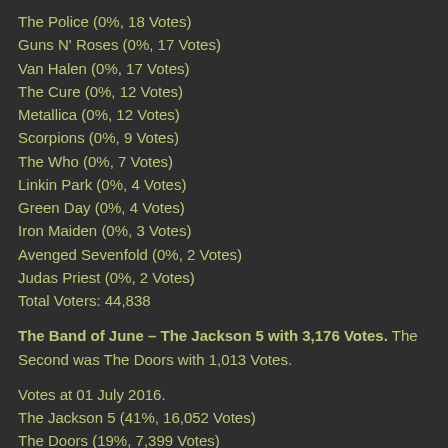The Police (0%, 18 Votes)
Guns N' Roses (0%, 17 Votes)
Van Halen (0%, 17 Votes)
The Cure (0%, 12 Votes)
Metallica (0%, 12 Votes)
Scorpions (0%, 9 Votes)
The Who (0%, 7 Votes)
Linkin Park (0%, 4 Votes)
Green Day (0%, 4 Votes)
Iron Maiden (0%, 3 Votes)
Avenged Sevenfold (0%, 2 Votes)
Judas Priest (0%, 2 Votes)
Total Voters: 44,838
The Band of June – The Jackson 5 with 3,176 Votes. The Second was The Doors with 1,013 Votes.
Votes at 01 July 2016.
The Jackson 5 (41%, 16,052 Votes)
The Doors (19%, 7,399 Votes)
Queen (14%, 5,423 Votes)
The Beatles (5%, 2,025 Votes)